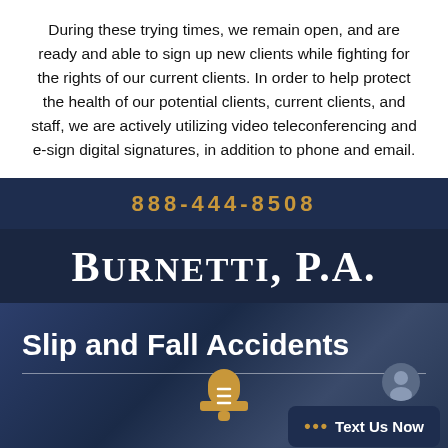During these trying times, we remain open, and are ready and able to sign up new clients while fighting for the rights of our current clients. In order to help protect the health of our potential clients, current clients, and staff, we are actively utilizing video teleconferencing and e-sign digital signatures, in addition to phone and email.
888-444-8508
Burnetti, P.A.
[Figure (screenshot): Dark navy background section with text 'Slip and Fall Accidents', a horizontal divider line, a gold/amber bell icon at the bottom center, an avatar circle icon, and a 'Text Us Now' chat bubble in the bottom right corner.]